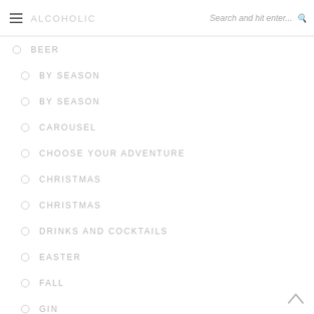ALCOHOLIC  Search and hit enter...
BEER
BY SEASON
BY SEASON
CAROUSEL
CHOOSE YOUR ADVENTURE
CHRISTMAS
CHRISTMAS
DRINKS AND COCKTAILS
EASTER
FALL
GIN
HALLOWEEN